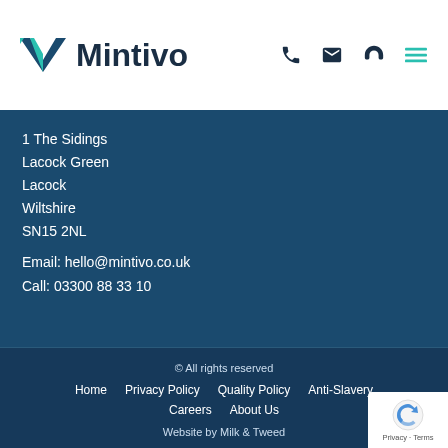[Figure (logo): Mintivo company logo with teal angular M icon and dark text 'Mintivo', plus navigation icons (phone, email, support, menu)]
1 The Sidings
Lacock Green
Lacock
Wiltshire
SN15 2NL
Email: hello@mintivo.co.uk
Call: 03300 88 33 10
© All rights reserved
Home   Privacy Policy   Quality Policy   Anti-Slavery
Careers   About Us
Website by Milk & Tweed